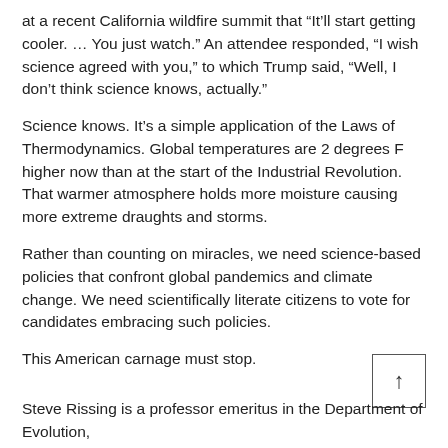at a recent California wildfire summit that “It’ll start getting cooler. … You just watch.” An attendee responded, “I wish science agreed with you,” to which Trump said, “Well, I don’t think science knows, actually.”
Science knows. It’s a simple application of the Laws of Thermodynamics. Global temperatures are 2 degrees F higher now than at the start of the Industrial Revolution. That warmer atmosphere holds more moisture causing more extreme draughts and storms.
Rather than counting on miracles, we need science-based policies that confront global pandemics and climate change. We need scientifically literate citizens to vote for candidates embracing such policies.
This American carnage must stop.
Steve Rissing is a professor emeritus in the Department of Evolution,